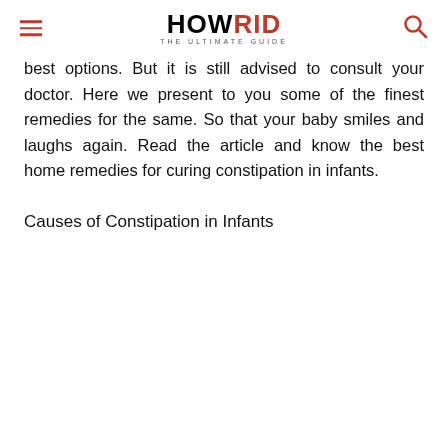HOWRID THE ULTIMATE GUIDE
best options. But it is still advised to consult your doctor. Here we present to you some of the finest remedies for the same. So that your baby smiles and laughs again. Read the article and know the best home remedies for curing constipation in infants.
Causes of Constipation in Infants